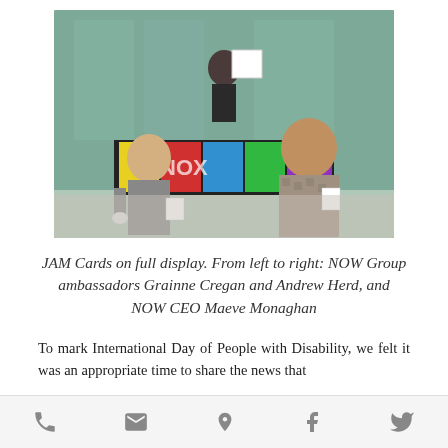[Figure (photo): Outdoor photo of three people holding JAM Cards in front of a building with colorful signage. From left to right: NOW Group ambassadors Grainne Cregan and Andrew Herd, and NOW CEO Maeve Monaghan.]
JAM Cards on full display. From left to right: NOW Group ambassadors Grainne Cregan and Andrew Herd, and NOW CEO Maeve Monaghan
To mark International Day of People with Disability, we felt it was an appropriate time to share the news that
phone | email | location | facebook | twitter